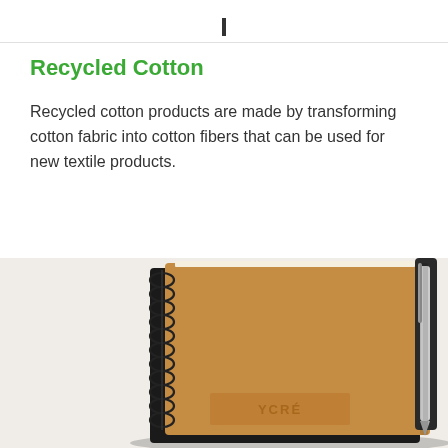Recycled Cotton
Recycled cotton products are made by transforming cotton fabric into cotton fibers that can be used for new textile products.
[Figure (photo): Photo of a spiral-bound notebook with kraft cardboard cover and a pen clipped to its side, viewed from a slight angle. The notebook has a black spine and a brown/kraft colored front cover with an embossed logo at the bottom.]